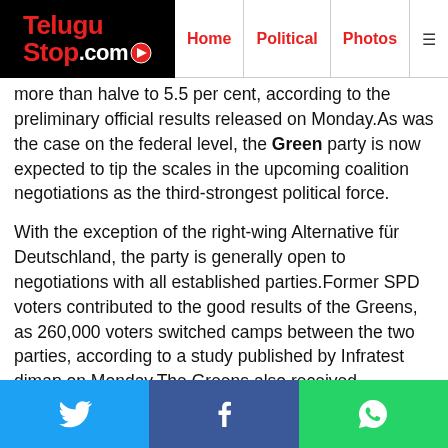TeluguStop.com | Home | Political | Photos
more than halve to 5.5 per cent, according to the preliminary official results released on Monday.As was the case on the federal level, the Green party is now expected to tip the scales in the upcoming coalition negotiations as the third-strongest political force.
With the exception of the right-wing Alternative für Deutschland, the party is generally open to negotiations with all established parties.Former SPD voters contributed to the good results of the Greens, as 260,000 voters switched camps between the two parties, according to a study published by Infratest dimap on Monday.The Greens also received particularly strong support from the younger age groups up to 34 years.int/khz/ #German #Green #Triples #Democratic Party #Democratic #Liberal Party.